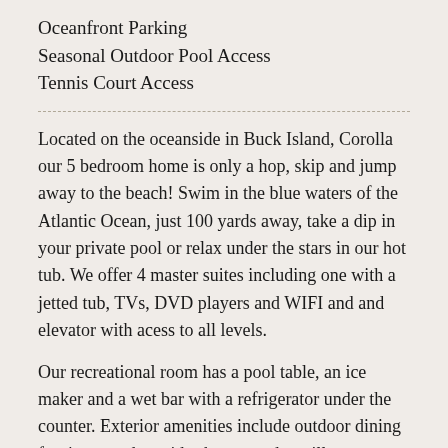Oceanfront Parking
Seasonal Outdoor Pool Access
Tennis Court Access
Located on the oceanside in Buck Island, Corolla our 5 bedroom home is only a hop, skip and jump away to the beach! Swim in the blue waters of the Atlantic Ocean, just 100 yards away, take a dip in your private pool or relax under the stars in our hot tub. We offer 4 master suites including one with a jetted tub, TVs, DVD players and WIFI and and elevator with acess to all levels.
Our recreational room has a pool table, an ice maker and a wet bar with a refrigerator under the counter. Exterior amenities include outdoor dining furniture, and outside shower and a grill.
No need to carry chairs or umbrellas to the beach - Pop's Place provides Beach Cabana Service with 8 chairs and 2